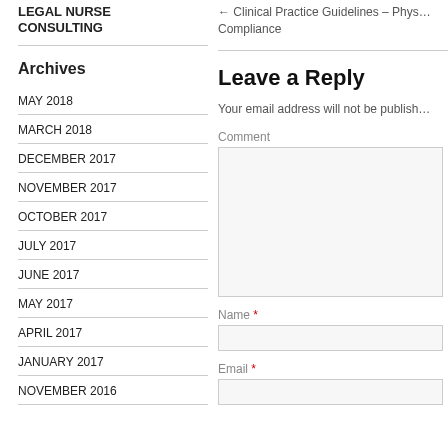LEGAL NURSE CONSULTING
Archives
MAY 2018
MARCH 2018
DECEMBER 2017
NOVEMBER 2017
OCTOBER 2017
JULY 2017
JUNE 2017
MAY 2017
APRIL 2017
JANUARY 2017
NOVEMBER 2016
← Clinical Practice Guidelines – Phys… Compliance
Leave a Reply
Your email address will not be publish…
Comment
Name *
Email *